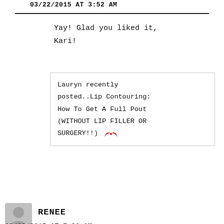03/22/2015 AT 3:52 AM
Yay! Glad you liked it, Kari!
Lauryn recently posted..Lip Contouring: How To Get A Full Pout (WITHOUT LIP FILLER OR SURGERY!!) 🦋
RENEE
03/22/2015 AT 7:36 AM
Love your makeup tutorials! Seriously amazing and so straight forward. It looks like you are wearing a pinky color on your lip in